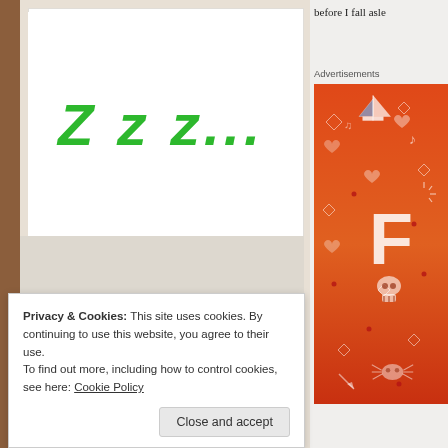before I fall asle
Advertisements
[Figure (illustration): Large italic green text reading 'Z z z...' on white background, representing sleeping/snoring]
[Figure (illustration): Orange advertisement banner with doodle-style illustrations including sailboat, skull, musical notes, spider/crab, hearts, diamonds, and other decorative elements. Letter 'F' visible in white.]
Privacy & Cookies: This site uses cookies. By continuing to use this website, you agree to their use.
To find out more, including how to control cookies, see here: Cookie Policy
Close and accept